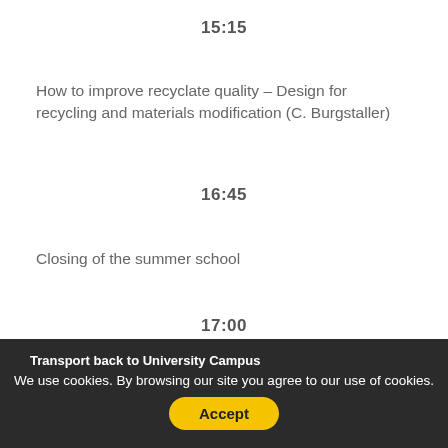15:15
How to improve recyclate quality – Design for recycling and materials modification (C. Burgstaller)
16:45
Closing of the summer school
17:00
Transport back to University Campus
We use cookies. By browsing our site you agree to our use of cookies.